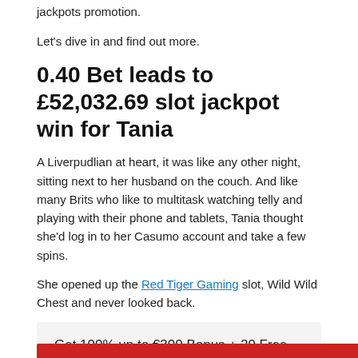jackpots promotion.
Let's dive in and find out more.
0.40 Bet leads to £52,032.69 slot jackpot win for Tania
A Liverpudlian at heart, it was like any other night, sitting next to her husband on the couch. And like many Brits who like to multitask watching telly and playing with their phone and tablets, Tania thought she'd log in to her Casumo account and take a few spins.
She opened up the Red Tiger Gaming slot, Wild Wild Chest and never looked back.
Get 100% up to €300 Bonus + 20 Free Spins
Get 20 free spins on sign up plus up to €300 in bonus on your first deposit at Casumo